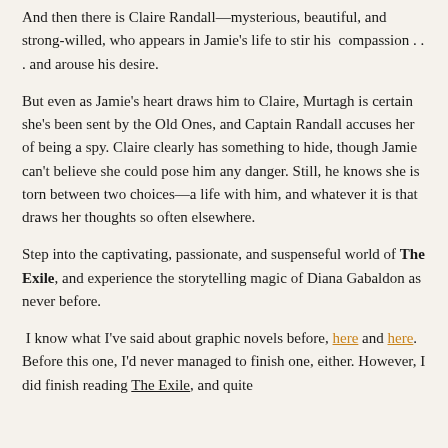And then there is Claire Randall—mysterious, beautiful, and strong-willed, who appears in Jamie's life to stir his  compassion . . . and arouse his desire.
But even as Jamie's heart draws him to Claire, Murtagh is certain she's been sent by the Old Ones, and Captain Randall accuses her of being a spy. Claire clearly has something to hide, though Jamie can't believe she could pose him any danger. Still, he knows she is torn between two choices—a life with him, and whatever it is that draws her thoughts so often elsewhere.
Step into the captivating, passionate, and suspenseful world of The Exile, and experience the storytelling magic of Diana Gabaldon as never before.
I know what I've said about graphic novels before, here and here. Before this one, I'd never managed to finish one, either. However, I did finish reading The Exile, and quite